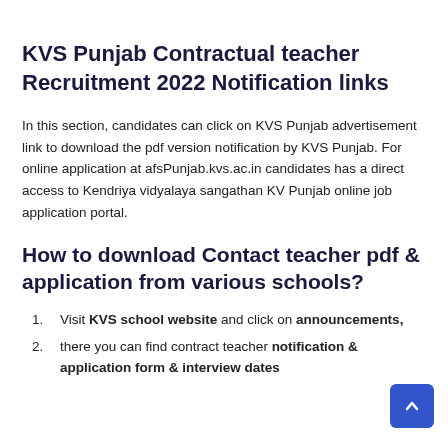KVS Punjab Contractual teacher Recruitment 2022 Notification links
In this section, candidates can click on KVS Punjab advertisement link to download the pdf version notification by KVS Punjab. For online application at afsPunjab.kvs.ac.in candidates has a direct access to Kendriya vidyalaya sangathan KV Punjab online job application portal.
How to download Contact teacher pdf & application from various schools?
Visit KVS school website and click on announcements,
there you can find contract teacher notification & application form & interview dates